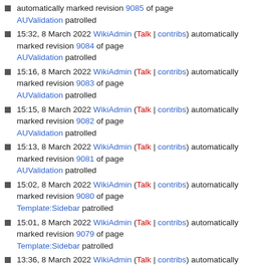automatically marked revision 9085 of page AUValidation patrolled
15:32, 8 March 2022 WikiAdmin (Talk | contribs) automatically marked revision 9084 of page AUValidation patrolled
15:16, 8 March 2022 WikiAdmin (Talk | contribs) automatically marked revision 9083 of page AUValidation patrolled
15:15, 8 March 2022 WikiAdmin (Talk | contribs) automatically marked revision 9082 of page AUValidation patrolled
15:13, 8 March 2022 WikiAdmin (Talk | contribs) automatically marked revision 9081 of page AUValidation patrolled
15:02, 8 March 2022 WikiAdmin (Talk | contribs) automatically marked revision 9080 of page Template:Sidebar patrolled
15:01, 8 March 2022 WikiAdmin (Talk | contribs) automatically marked revision 9079 of page Template:Sidebar patrolled
13:36, 8 March 2022 WikiAdmin (Talk | contribs) automatically marked revision 9078 of page IN patrolled
13:32, 8 March 2022 WikiAdmin (Talk | contribs)